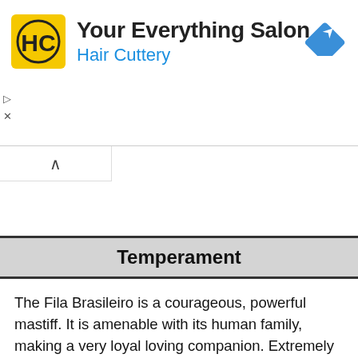[Figure (logo): Hair Cuttery advertisement banner with HC logo (yellow square with HC letters), title 'Your Everything Salon', subtitle 'Hair Cuttery' in blue, and a blue navigation/directions diamond icon on the right]
Temperament
The Fila Brasileiro is a courageous, powerful mastiff. It is amenable with its human family, making a very loyal loving companion. Extremely dedicated to his owner. A Fila will protect you without a moment's hesitation. He feels that is why he is there. Once you bond with your Fila, you and your family will become his whole world. You do not teach your Fila to protect you, as he does this on